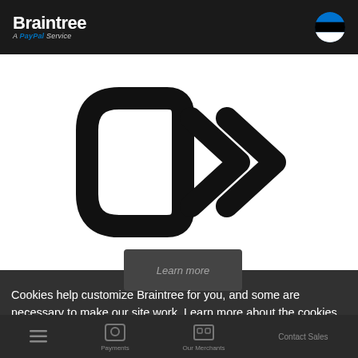Braintree A PayPal Service
[Figure (logo): Braintree double-arrow forward icon in black outline on white background]
Cookies help customize Braintree for you, and some are necessary to make our site work. Learn more about the cookies we use and how you can manage them.
Accept
Payments  Our Merchants  Contact Sales